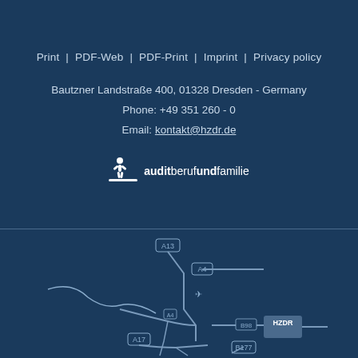Print | PDF-Web | PDF-Print | Imprint | Privacy policy
Bautzner Landstraße 400, 01328 Dresden - Germany
Phone: +49 351 260 - 0
Email: kontakt@hzdr.de
[Figure (logo): audit beruf und familie logo with icon of person]
How to find us
[Figure (map): Road map showing directions to HZDR in Dresden, Germany, with roads A17, A4, A13, B98, B177 and airport symbol marked]